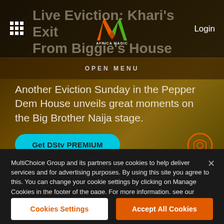Live Eviction: Khari's Exit From Biggie's House
[Figure (logo): Africa Magic logo - orange and green M shape with AFRICA MAGIC text below]
Login
OPEN MENU
Another Eviction Sunday in the Pepper Dem House unveils great moments on the Big Brother Naija stage.
Get DStv PREMIUM
MultiChoice Group and its partners use cookies to help deliver services and for advertising purposes. By using this site you agree to this. You can change your cookie settings by clicking on Manage Cookies in the footer of the page. For more information, see our Privacy Policy
Cookies Settings
Accept All Cookies